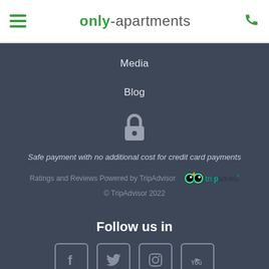only-apartments
Media
Blog
[Figure (illustration): Padlock / secure payment icon in gray]
Safe payment with no additional cost for credit card payments
Ratings and Reviews Powered by TripAdvisor
[Figure (logo): TripAdvisor logo with owl eyes icon]
© TripAdvisor 2022
Follow us in
[Figure (illustration): Social media icons: Facebook, Twitter, Instagram, YouTube]